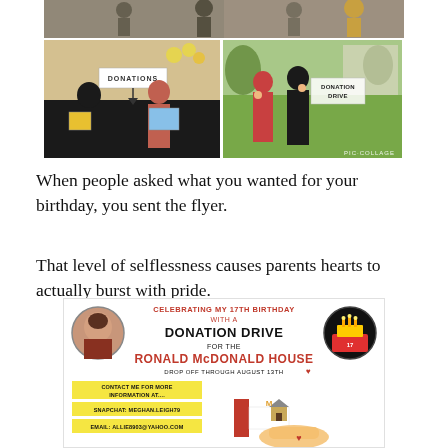[Figure (photo): Top strip photo of people at a donation drive event, partially visible at top of page]
[Figure (photo): Two-panel photo collage below: left panel shows two girls holding DONATIONS sign with books; right panel shows two girls with DONATION DRIVE sign outdoors. PIC COLLAGE watermark visible.]
When people asked what you wanted for your birthday, you sent the flyer.
That level of selflessness causes parents hearts to actually burst with pride.
[Figure (infographic): Birthday donation drive flyer: 'CELEBRATING MY 17TH BIRTHDAY WITH A DONATION DRIVE FOR THE RONALD MCDONALD HOUSE. DROP OFF THROUGH AUGUST 13TH. CONTACT ME FOR MORE INFORMATION AT.... SNAPCHAT: MEGHAN.LEIGH79. EMAIL: ALLIE8903@YAHOO.COM'. Has circular photo of girl on left, cake image on right, and Ronald McDonald House logo graphic.]